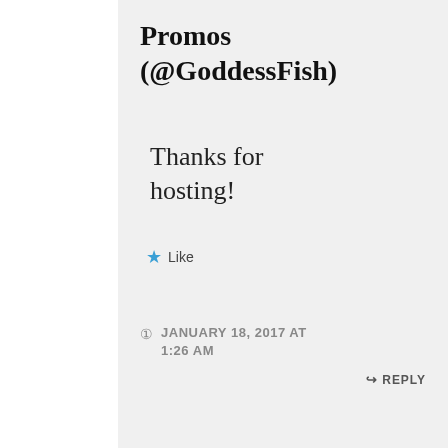Promos (@GoddessFish)
Thanks for hosting!
★ Like
JANUARY 18, 2017 AT 1:26 AM
↳ REPLY